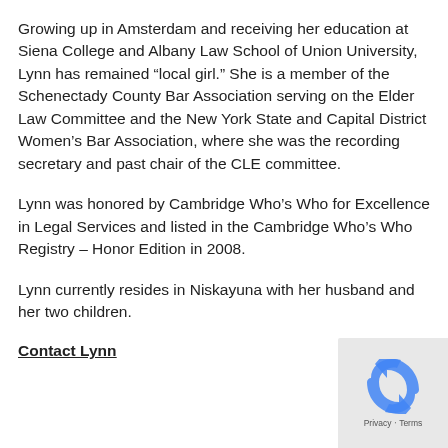Growing up in Amsterdam and receiving her education at Siena College and Albany Law School of Union University, Lynn has remained “local girl.”  She is a member of the Schenectady County Bar Association serving on the Elder Law Committee and the New York State and Capital District Women's Bar Association, where she was the recording secretary and past chair of the CLE committee.
Lynn was honored by Cambridge Who's Who for Excellence in Legal Services and listed in the Cambridge Who's Who Registry – Honor Edition in 2008.
Lynn currently resides in Niskayuna with her husband and her two children.
Contact Lynn